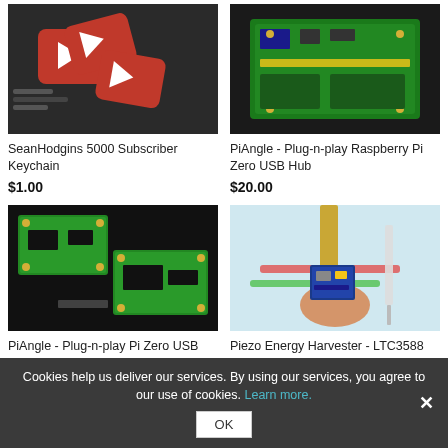[Figure (photo): Red YouTube-branded keychain badges on a dark surface with tools]
[Figure (photo): Green Raspberry Pi Zero USB Hub circuit board on dark surface]
SeanHodgins 5000 Subscriber Keychain
$1.00
PiAngle - Plug-n-play Raspberry Pi Zero USB Hub
$20.00
[Figure (photo): Two green Pi Zero circuit boards (PiAngle USB Hub - Board Only) on dark surface]
[Figure (photo): Hand holding a small blue Piezo Energy Harvester LTC3588 Demo Board with ribbon cable]
PiAngle - Plug-n-play Pi Zero USB Hub - Board Only
$5.00
Piezo Energy Harvester - LTC3588 Demo Board
$37.00
Cookies help us deliver our services. By using our services, you agree to our use of cookies. Learn more.